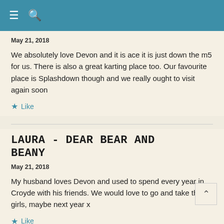May 21, 2018
We absolutely love Devon and it is ace it is just down the m5 for us. There is also a great karting place too. Our favourite place is Splashdown though and we really ought to visit again soon
Like
LAURA - DEAR BEAR AND BEANY
May 21, 2018
My husband loves Devon and used to spend every year in Croyde with his friends. We would love to go and take the girls, maybe next year x
Like